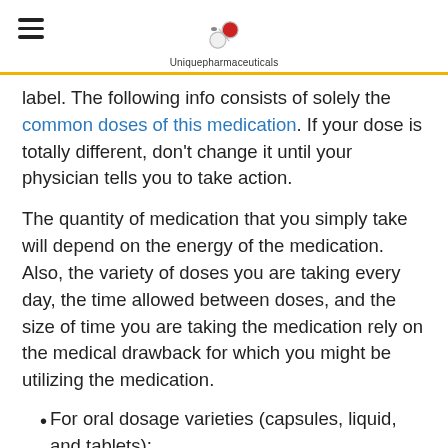Uniquepharmaceuticals
label. The following info consists of solely the common doses of this medication. If your dose is totally different, don't change it until your physician tells you to take action.
The quantity of medication that you simply take will depend on the energy of the medication. Also, the variety of doses you are taking every day, the time allowed between doses, and the size of time you are taking the medication rely on the medical drawback for which you might be utilizing the medication.
For oral dosage varieties (capsules, liquid, and tablets):